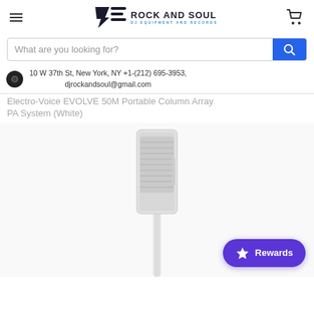Rock And Soul - DJ Equipment and Records
What are you looking for?
10 W 37th St, New York, NY +1-(212) 695-3953, djrockandsoul@gmail.com
Electro-Voice EVOLVE 50M Portable Column Array PA System (White)
[Figure (photo): White Electro-Voice EVOLVE 50M Portable Column Array PA System speaker on a pole against white background]